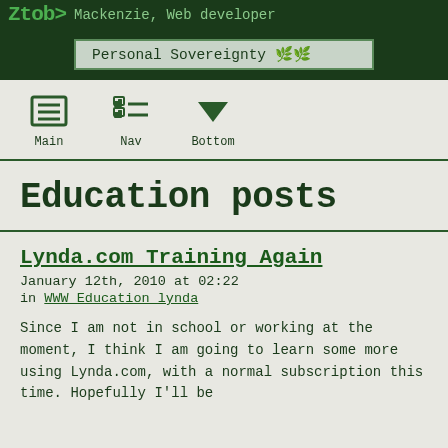Ztob> Mackenzie, Web developer
Personal Sovereignty 🌿🌿
[Figure (screenshot): Navigation icons: Main (document icon), Nav (list icon), Bottom (down arrow icon)]
Education posts
Lynda.com Training Again
January 12th, 2010 at 02:22
in WWW Education lynda
Since I am not in school or working at the moment, I think I am going to learn some more using Lynda.com, with a normal subscription this time. Hopefully I'll be